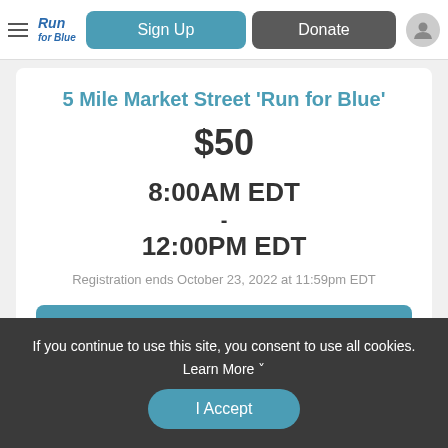Run for Blue — Sign Up | Donate
5 Mile Market Street 'Run for Blue'
$50
8:00AM EDT
-
12:00PM EDT
Registration ends October 23, 2022 at 11:59pm EDT
Sign Up
If you continue to use this site, you consent to use all cookies. Learn More ˅
I Accept